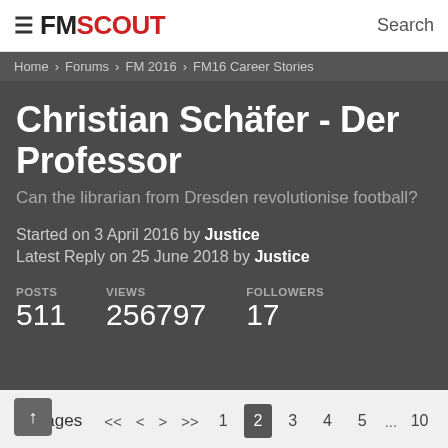FM SCOUT  Search
Home › Forums › FM 2016 › FM16 Career Stories
Christian Schäfer - Der Professor
Can the librarian from Dresden revolutionise football?
Started on 3 April 2016 by Justice
Latest Reply on 25 June 2018 by Justice
| POSTS | VIEWS | FOLLOWERS |
| --- | --- | --- |
| 511 | 256797 | 17 |
Pages  <<  <  >  >>  1  2  3  4  5  ...  10